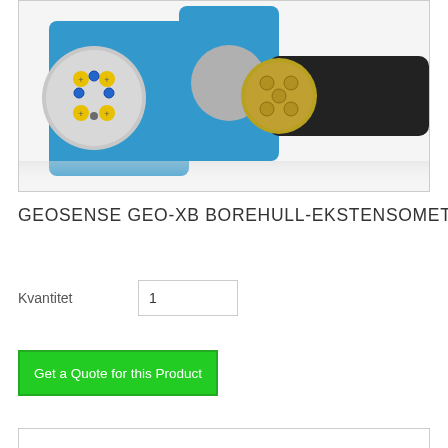[Figure (photo): Photo of Geosense GEO-XB borehole extensometer instruments: two blue cylindrical sensors with connector ends exposed showing yellow screws, blue tubes, and a black cylinder with gold/brass connector fittings on a white background.]
GEOSENSE GEO-XB BOREHULL-EKSTENSOMETER
Kvantitet   1
Get a Quote for this Product